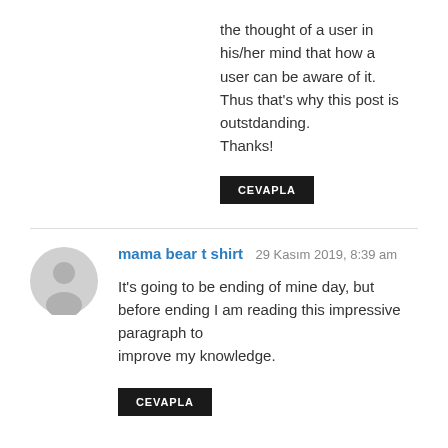the thought of a user in his/her mind that how a user can be aware of it.
Thus that's why this post is outstdanding.
Thanks!
CEVAPLA
mama bear t shirt   29 Kasım 2019, 8:39 am
It's going to be ending of mine day, but before ending I am reading this impressive paragraph to improve my knowledge.
CEVAPLA